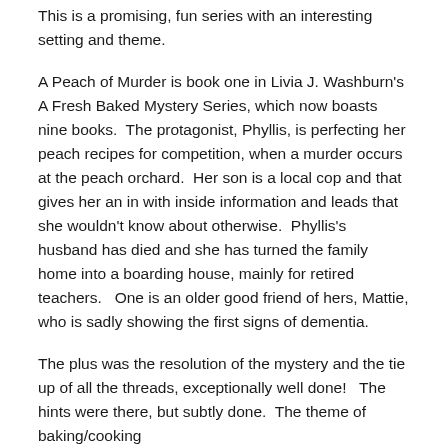This is a promising, fun series with an interesting setting and theme.
A Peach of Murder is book one in Livia J. Washburn's A Fresh Baked Mystery Series, which now boasts nine books.  The protagonist, Phyllis, is perfecting her peach recipes for competition, when a murder occurs at the peach orchard.  Her son is a local cop and that gives her an in with inside information and leads that she wouldn't know about otherwise.  Phyllis's husband has died and she has turned the family home into a boarding house, mainly for retired teachers.   One is an older good friend of hers, Mattie, who is sadly showing the first signs of dementia.
The plus was the resolution of the mystery and the tie up of all the threads, exceptionally well done!   The hints were there, but subtly done.  The theme of baking/cooking